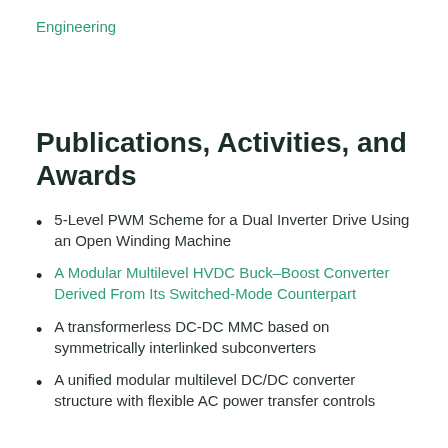Engineering
Publications, Activities, and Awards
5-Level PWM Scheme for a Dual Inverter Drive Using an Open Winding Machine
A Modular Multilevel HVDC Buck–Boost Converter Derived From Its Switched-Mode Counterpart
A transformerless DC-DC MMC based on symmetrically interlinked subconverters
A unified modular multilevel DC/DC converter structure with flexible AC power transfer controls